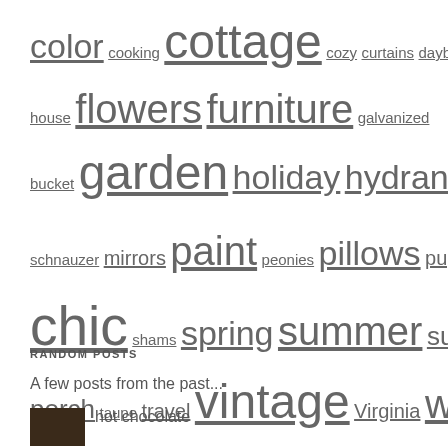color cooking cottage cozy curtains daybed decorating dishware DIY fall farm house flowers furniture galvanized bucket garden holiday hydrangea kitchen miniature schnauzer mirrors paint peonies pillows puppy remodel shabby chic shams spring summer sun porch taupe travel vintage Virginia warm whites winter yardsales
RANDOM POSTS
A few posts from the past...
hot chocolate